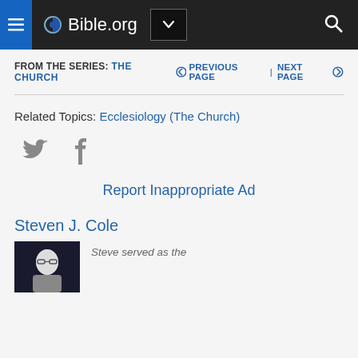Bible.org
FROM THE SERIES: THE CHURCH   ← PREVIOUS PAGE | NEXT PAGE →
Related Topics: Ecclesiology (The Church)
[Figure (illustration): Twitter and Facebook social share icons in grey]
Report Inappropriate Ad
Steven J. Cole
Steve served as the